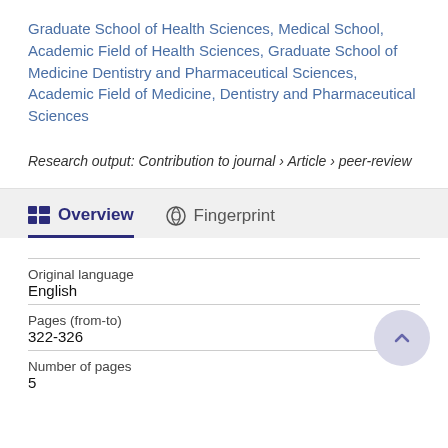Graduate School of Health Sciences, Medical School, Academic Field of Health Sciences, Graduate School of Medicine Dentistry and Pharmaceutical Sciences, Academic Field of Medicine, Dentistry and Pharmaceutical Sciences
Research output: Contribution to journal › Article › peer-review
Overview   Fingerprint
| Field | Value |
| --- | --- |
| Original language | English |
| Pages (from-to) | 322-326 |
| Number of pages | 5 |